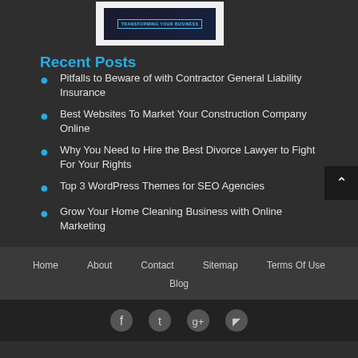[Figure (screenshot): Thumbnail image of a blog post with dark background and blue banner text 'TRANSFORMING YOUR BUSINESS']
Recent Posts
Pitfalls to Beware of with Contractor General Liability Insurance
Best Websites To Market Your Construction Company Online
Why You Need to Hire the Best Divorce Lawyer to Fight For Your Rights
Top 3 WordPress Themes for SEO Agencies
Grow Your Home Cleaning Business with Online Marketing
Home   About   Contact   Sitemap   Terms Of Use   Blog
[Figure (illustration): Social media icons: Facebook, Twitter, Google+, RSS feed]